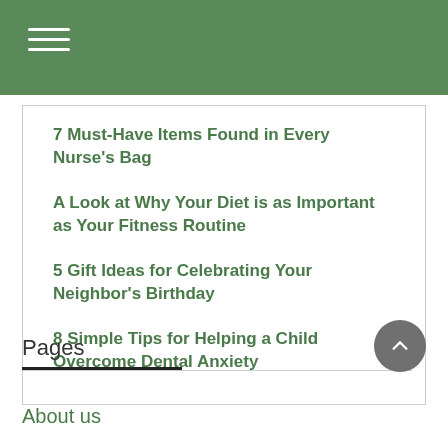7 Must-Have Items Found in Every Nurse's Bag
A Look at Why Your Diet is as Important as Your Fitness Routine
5 Gift Ideas for Celebrating Your Neighbor's Birthday
8 Simple Tips for Helping a Child Overcome Dental Anxiety
Pages
About us